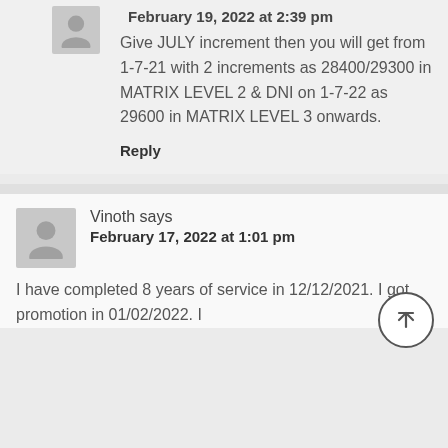February 19, 2022 at 2:39 pm
Give JULY increment then you will get from 1-7-21 with 2 increments as 28400/29300 in MATRIX LEVEL 2 & DNI on 1-7-22 as 29600 in MATRIX LEVEL 3 onwards.
Reply
Vinoth says
February 17, 2022 at 1:01 pm
I have completed 8 years of service in 12/12/2021. I got promotion in 01/02/2022. I